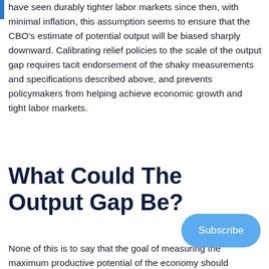have seen durably tighter labor markets since then, with minimal inflation, this assumption seems to ensure that the CBO's estimate of potential output will be biased sharply downward. Calibrating relief policies to the scale of the output gap requires tacit endorsement of the shaky measurements and specifications described above, and prevents policymakers from helping achieve economic growth and tight labor markets.
What Could The Output Gap Be?
None of this is to say that the goal of measuring the maximum productive potential of the economy should